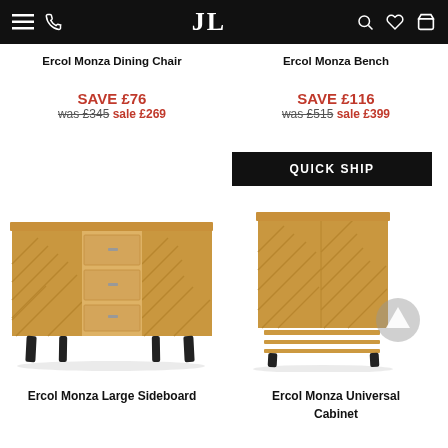JL navigation bar
Ercol Monza Dining Chair
Ercol Monza Bench
SAVE £76
was £345 sale £269
SAVE £116
was £515 sale £399
QUICK SHIP
[Figure (photo): Ercol Monza Large Sideboard - wooden sideboard with chevron pattern doors and three central drawers on dark tapered legs]
[Figure (photo): Ercol Monza Universal Cabinet - tall wooden cabinet with chevron pattern doors on dark tapered legs with open shelf below]
Ercol Monza Large Sideboard
Ercol Monza Universal Cabinet